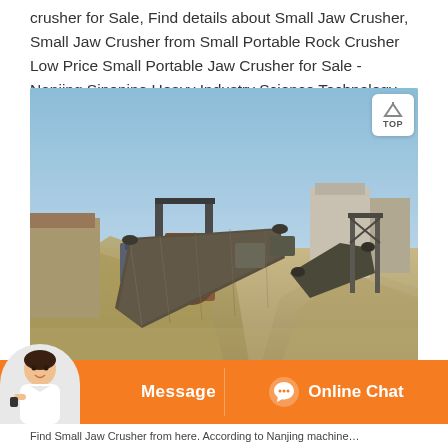Crusher for Sale, Find details about Small Jaw Crusher, Small Jaw Crusher from Small Portable Rock Crusher Low Price Small Portable Jaw Crusher for Sale - Nanjing Sinonine Heavy Industry Science Technology Co., Ltd.
[Figure (photo): Outdoor industrial rock crushing facility with jaw crusher machinery, conveyor belts, gravel piles, and a building structure under a clear blue sky.]
Find Small Jaw Crusher from here. According to Nanjing machine...